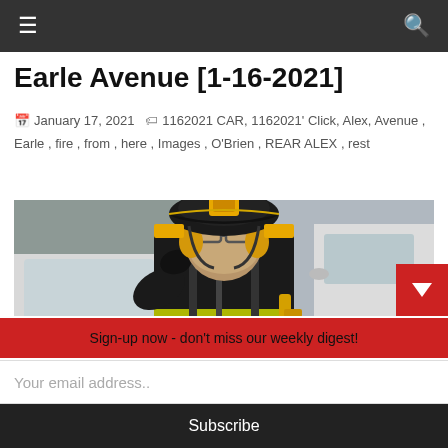☰  🔍
Earle Avenue [1-16-2021]
January 17, 2021   🏷 1162021 CAR, 1162021' Click, Alex, Avenue, Earle, fire, from, here, Images, O'Brien, REAR ALEX, rest
[Figure (photo): A firefighter in full gear including a dark helmet with a yellow shield/badge, face mask covering the lower face, glasses, yellow earmuffs, and a dark turnout coat with reflective yellow-green stripes. The firefighter is touching their face/chin area and standing in front of what appears to be a white vehicle. The scene is outdoors in winter.]
Sign-up now - don't miss our weekly digest!
Your email address..
Subscribe